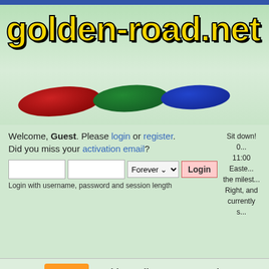[Figure (logo): golden-road.net logo with yellow stylized text and colored disc/puck decorations on green gradient background]
Welcome, Guest. Please login or register. Did you miss your activation email?
Login with username, password and session length
Sit down! 0... 11:00 Eastern the milest... Right, and currently s...
Home   Golden Gallery   FAQ   Login
Golden-Road.net » Studio 33 - Price is Right Discussion » The Price WAS Right » Barker Era (Moderators: Marc, ClockGameJohn, SteveGavazzi, Chelsea, Prizes, J... Recap for October 10, 1984 (5433D)